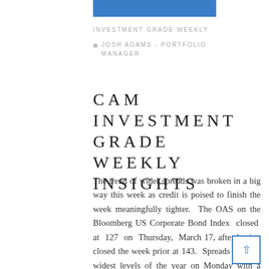INVESTMENT GRADE WEEKLY
JOSH ADAMS - PORTFOLIO MANAGER
CAM INVESTMENT GRADE WEEKLY INSIGHTS
The trend of wider spreads was broken in a big way this week as credit is poised to finish the week meaningfully tighter. The OAS on the Bloomberg US Corporate Bond Index closed at 127 on Thursday, March 17, after having closed the week prior at 143. Spreads hit their widest levels of the year on Monday with a close on the index of 145 and Tuesday wasn't much better at 144 but then the sentiment shifted in a big